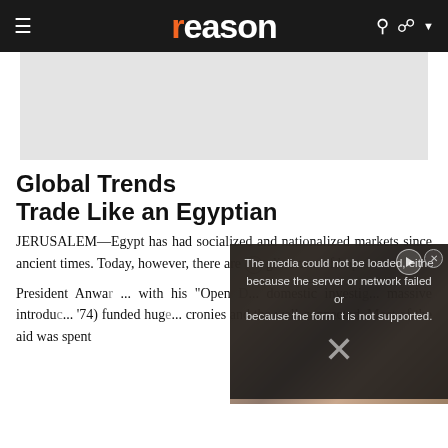reason
[Figure (photo): Gray advertisement placeholder area]
Global Trends
Trade Like an Egyptian
JERUSALEM—Egypt has had socialized and nationalized markets since ancient times. Today, however, there are glimmers of hop...
President Anwa... with his "Open ... domestic investi... massive introdu... '74) funded hug... cronies and the well-connected. Most of the aid was spent
[Figure (screenshot): Video overlay showing error: 'The media could not be loaded, either because the server or network failed or because the format is not supported.' with a close button (x) and play button, overlaying a protest photo background.]